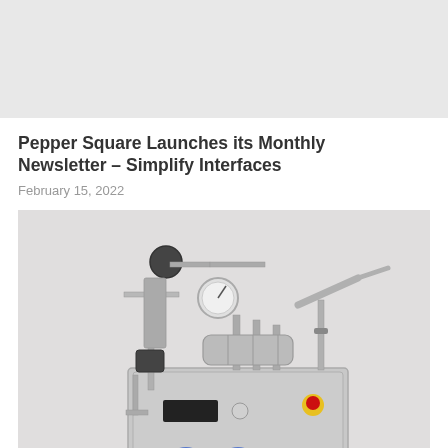[Figure (photo): Top placeholder image area with light gray background, partially visible]
Pepper Square Launches its Monthly Newsletter – Simplify Interfaces
February 15, 2022
[Figure (photo): Industrial stainless steel machine/homogenizer equipment with pipes, gauges, pressure meters, and a red emergency stop button on a white/gray background]